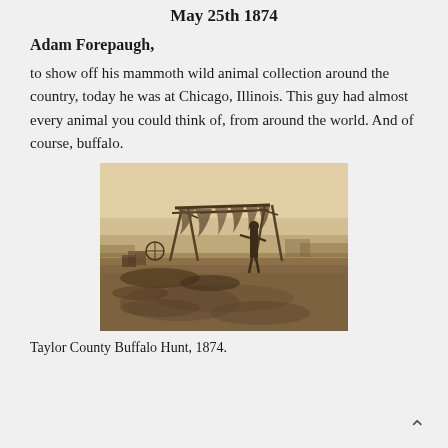May 25th 1874
Adam Forepaugh,
to show off his mammoth wild animal collection around the country, today he was at Chicago, Illinois. This guy had almost every animal you could think of, from around the world. And of course, buffalo.
[Figure (photo): Sepia-toned historical photograph of a buffalo hunting camp scene, showing a wooden rack/scaffold structure with hides draped over it, a person standing near the structure, and animal remains/hides on the ground in an open prairie landscape. Taylor County Buffalo Hunt, 1874.]
Taylor County Buffalo Hunt, 1874.